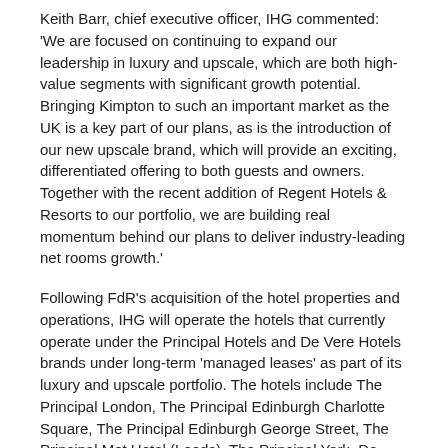Keith Barr, chief executive officer, IHG commented: 'We are focused on continuing to expand our leadership in luxury and upscale, which are both high-value segments with significant growth potential. Bringing Kimpton to such an important market as the UK is a key part of our plans, as is the introduction of our new upscale brand, which will provide an exciting, differentiated offering to both guests and owners. Together with the recent addition of Regent Hotels & Resorts to our portfolio, we are building real momentum behind our plans to deliver industry-leading net rooms growth.'
Following FdR's acquisition of the hotel properties and operations, IHG will operate the hotels that currently operate under the Principal Hotels and De Vere Hotels brands under long-term 'managed leases' as part of its luxury and upscale portfolio. The hotels include The Principal London, The Principal Edinburgh Charlotte Square, The Principal Edinburgh George Street, The Principal Met Hotel (Leeds), The Principal York, De Vere Oxford Thames, The Grand Birmingham (pipeline), The Principal Manchester, The Principal Blythswood Square (Glasgow), The Principal Grand Central (Glasgow), The Principal St David's (Cardiff), The Principal Oxford Spires and De Vere Wotton House.